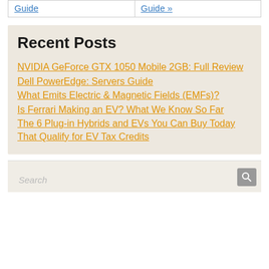Guide
Guide »
Recent Posts
NVIDIA GeForce GTX 1050 Mobile 2GB: Full Review
Dell PowerEdge: Servers Guide
What Emits Electric & Magnetic Fields (EMFs)?
Is Ferrari Making an EV? What We Know So Far
The 6 Plug-in Hybrids and EVs You Can Buy Today That Qualify for EV Tax Credits
Search